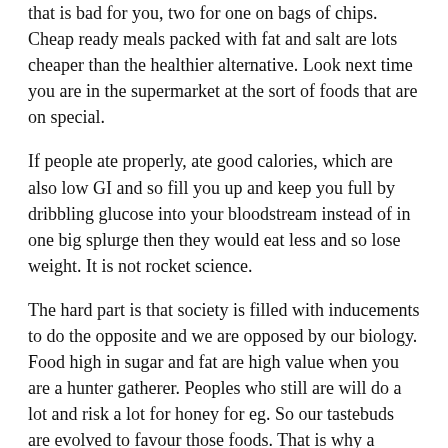that is bad for you, two for one on bags of chips. Cheap ready meals packed with fat and salt are lots cheaper than the healthier alternative. Look next time you are in the supermarket at the sort of foods that are on special.
If people ate properly, ate good calories, which are also low GI and so fill you up and keep you full by dribbling glucose into your bloodstream instead of in one big splurge then they would eat less and so lose weight. It is not rocket science.
The hard part is that society is filled with inducements to do the opposite and we are opposed by our biology. Food high in sugar and fat are high value when you are a hunter gatherer. Peoples who still are will do a lot and risk a lot for honey for eg. So our tastebuds are evolved to favour those foods. That is why a chocolate eclair tastes so good.
So when we live in a society where it is cheap to produce food laced with sugar, salt and high in fat and fesh vegetables and wholegrain bread are expensive eating right becomes hard, especially on